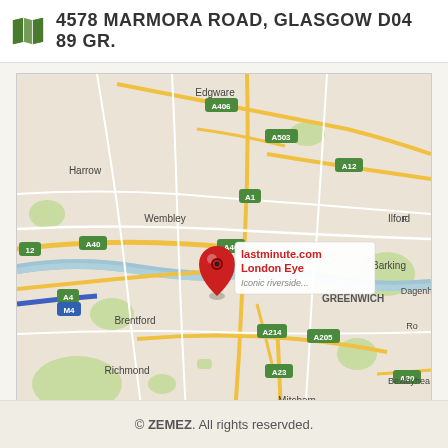4578 MARMORA ROAD, GLASGOW D04 89 GR.
[Figure (map): Google Maps view of London showing central London area with A-road labels (A40, A406, A503, A1, A12, A4, A205, A214, A23, A20, M4), district labels (Edgware, Harrow, Wembley, Brentford, Richmond, Kingston upon Thames, Mitcham, Croydon, Ilford, Barking, Dagenham, Greenwich, Bromley, Bexleyheath, Sidcup, Orpington), and a red pin marker labeled 'lastminute.com London Eye — Iconic riverside...']
© ZEMEZ. All rights reservded.